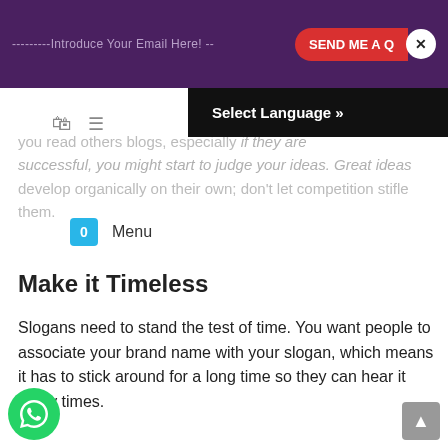---------Introduce Your Email Here! -- SEND ME A Q X
Select Language »
you read others blogs, especially if they are successful, you might start to judge your ideas. Great ideas develop organically on their own; don't let competition stifle them.
Make it Timeless
Slogans need to stand the test of time. You want people to associate your brand name with your slogan, which means it has to stick around for a long time so they can hear it many times.
This means avoiding anything too contemporary or trendy. Some to avoid could include:
playing off a popular series or song title